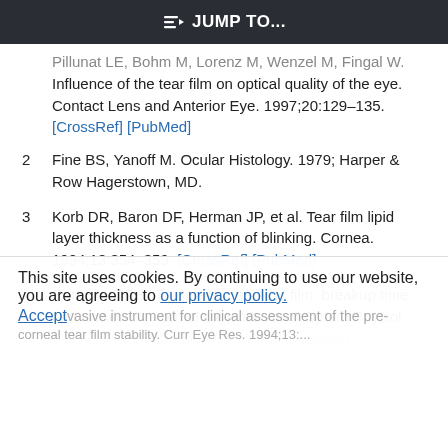≡D JUMP TO...
Influence of the tear film on optical quality of the eye. Contact Lens and Anterior Eye. 1997;20:129–135. [CrossRef] [PubMed]
2 Fine BS, Yanoff M. Ocular Histology. 1979; Harper & Row Hagerstown, MD.
3 Korb DR, Baron DF, Herman JP, et al. Tear film lipid layer thickness as a function of blinking. Cornea. 1994;13:354–359. [CrossRef] [PubMed]
4 Rengstorff RH. The precorneal tear film: breakup time and location in normal subjects. Am J Optom Physiol Opt. 1974;51:765–769. [CrossRef] [PubMed]
This site uses cookies. By continuing to use our website, you are agreeing to our privacy policy. Accept